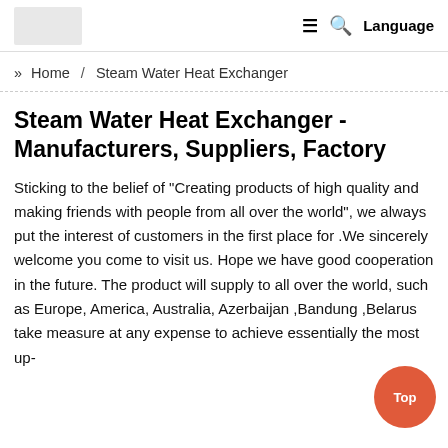≡ 🔍 Language
» Home / Steam Water Heat Exchanger
Steam Water Heat Exchanger - Manufacturers, Suppliers, Factory
Sticking to the belief of "Creating products of high quality and making friends with people from all over the world", we always put the interest of customers in the first place for .We sincerely welcome you come to visit us. Hope we have good cooperation in the future. The product will supply to all over the world, such as Europe, America, Australia, Azerbaijan ,Bandung ,Belarus take measure at any expense to achieve essentially the most up-